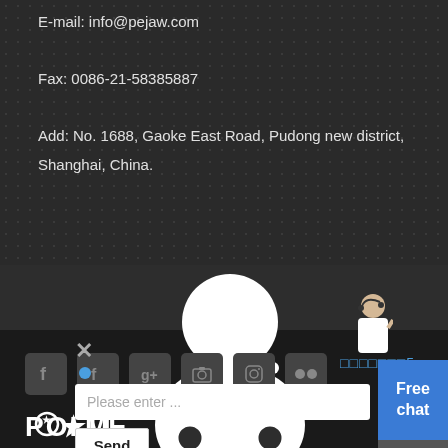E-mail: info@pejaw.com
Fax: 0086-21-58385887
Add: No. 1688, Gaoke East Road, Pudong new district, Shanghai, China.
[Figure (illustration): White silhouette of a doctor/medical professional with stethoscope on dark background]
[Figure (logo): POLITOME logo with star icon]
[Figure (infographic): Social media icons row: Facebook, another FB-style, Google+, Camera, Instagram, Flickr]
[Figure (photo): Live chat agent female figure in white, gesturing]
Free
chat
□□□□□□□5
[Figure (screenshot): Hamburger menu button (three horizontal lines) on dark gray background]
×
•
Please enter ...
Send